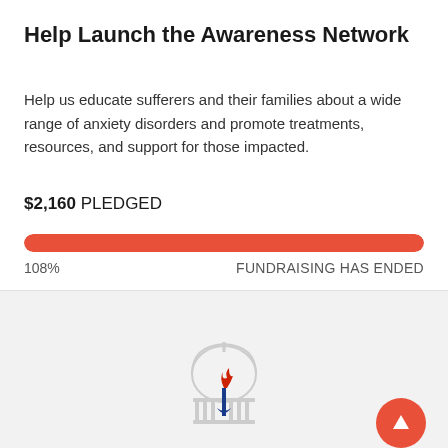Help Launch the Awareness Network
Help us educate sufferers and their families about a wide range of anxiety disorders and promote treatments, resources, and support for those impacted.
$2,160 PLEDGED
[Figure (infographic): Orange/red horizontal progress bar at 108% full width, with '108%' label on left and 'FUNDRAISING HAS ENDED' on right]
[Figure (logo): The Glass Capitol organization logo: a torch with red flame and blue ribbon in front of a white capitol building dome outline]
The Glass Capitol